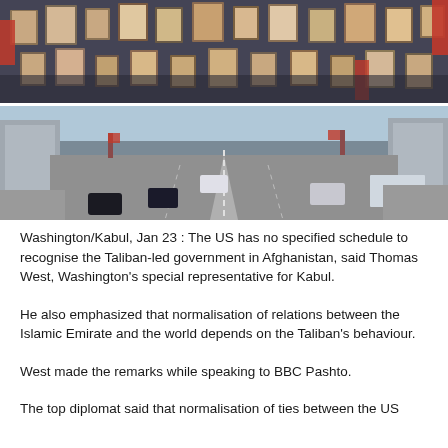[Figure (photo): Two stacked photos: top photo shows a large crowd of people holding up portrait photographs and red flags; bottom photo shows a wide empty multi-lane road/boulevard with a few cars and city buildings on either side.]
Washington/Kabul, Jan 23 : The US has no specified schedule to recognise the Taliban-led government in Afghanistan, said Thomas West, Washington's special representative for Kabul.
He also emphasized that normalisation of relations between the Islamic Emirate and the world depends on the Taliban's behaviour.
West made the remarks while speaking to BBC Pashto.
The top diplomat said that normalisation of ties between the US